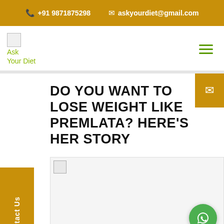📞 +91 9871875298   ✉ askyourdiet@gmail.com
[Figure (logo): Ask Your Diet logo with green text]
DO YOU WANT TO LOSE WEIGHT LIKE PREMLATA? HERE'S HER STORY
[Figure (photo): Broken/loading image placeholder for article story photo]
Contact Us